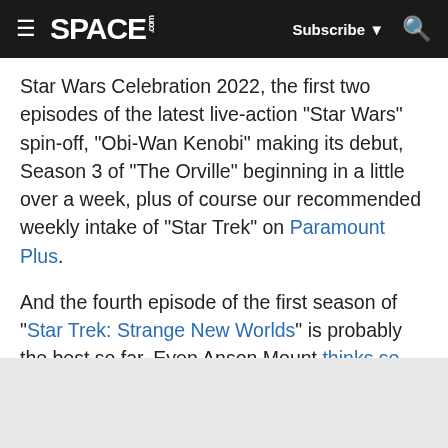≡ SPACE.com  Subscribe ▼ 🔍
Star Wars Celebration 2022, the first two episodes of the latest live-action "Star Wars" spin-off, "Obi-Wan Kenobi" making its debut, Season 3 of "The Orville" beginning in a little over a week, plus of course our recommended weekly intake of "Star Trek" on Paramount Plus.
And the fourth episode of the first season of "Star Trek: Strange New Worlds" is probably the best so far. Even Anson Mount thinks so. And despite a couple of plot strands that really could've been improved — which we'll get to shortly — this episode, entitled